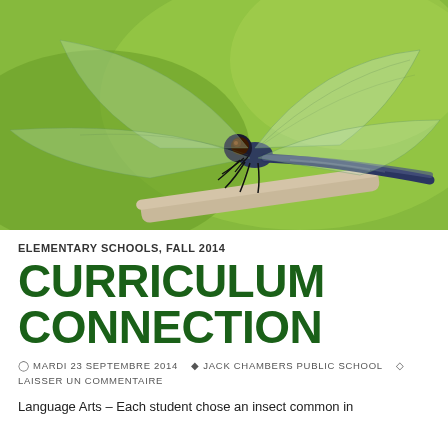[Figure (photo): Close-up macro photo of a blue/dark dragonfly perched on a stick against a green background]
ELEMENTARY SCHOOLS, FALL 2014
CURRICULUM CONNECTION
MARDI 23 SEPTEMBRE 2014   JACK CHAMBERS PUBLIC SCHOOL   LAISSER UN COMMENTAIRE
Language Arts – Each student chose an insect common in